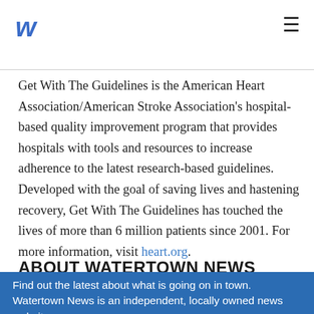w ≡
Get With The Guidelines is the American Heart Association/American Stroke Association's hospital-based quality improvement program that provides hospitals with tools and resources to increase adherence to the latest research-based guidelines. Developed with the goal of saving lives and hastening recovery, Get With The Guidelines has touched the lives of more than 6 million patients since 2001. For more information, visit heart.org.
ABOUT WATERTOWN NEWS
Find out the latest about what is going on in town. Watertown News is an independent, locally owned news website